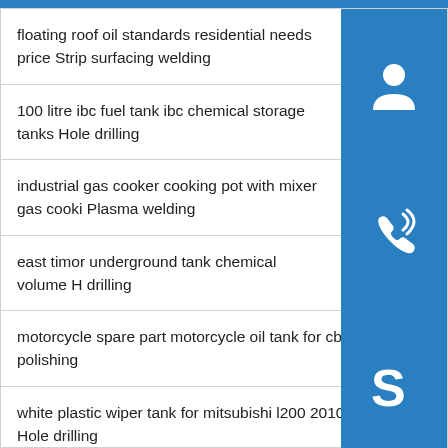floating roof oil standards residential needs price Strip surfacing welding
100 litre ibc fuel tank ibc chemical storage tanks Hole drilling
industrial gas cooker cooking pot with mixer gas cooki Plasma welding
east timor underground tank chemical volume H drilling
motorcycle spare part motorcycle oil tank for cbf150 polishing
white plastic wiper tank for mitsubishi l200 2010 mb606300 Hole drilling
[Figure (illustration): Three blue square icon buttons stacked vertically on the right side: a customer support/headset icon, a phone/call icon, and a Skype icon]